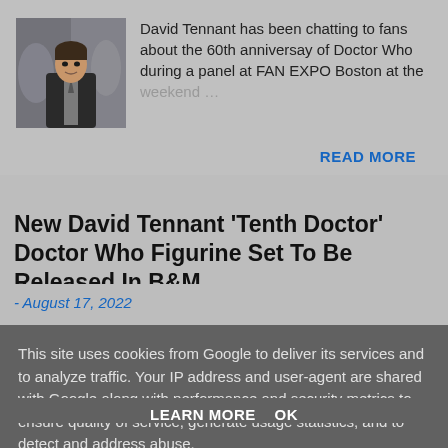[Figure (photo): Photo of David Tennant in a dark suit, standing in front of a blurred crowd background]
David Tennant has been chatting to fans about the 60th anniversay of Doctor Who during a panel at FAN EXPO Boston at the weekend ...
READ MORE
New David Tennant 'Tenth Doctor' Doctor Who Figurine Set To Be Released In B&M
- August 17, 2022
This site uses cookies from Google to deliver its services and to analyze traffic. Your IP address and user-agent are shared with Google along with performance and security metrics to ensure quality of service, generate usage statistics, and to detect and address abuse.
LEARN MORE    OK